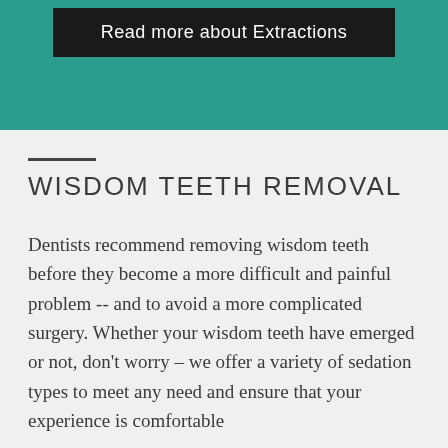Read more about Extractions
WISDOM TEETH REMOVAL
Dentists recommend removing wisdom teeth before they become a more difficult and painful problem -- and to avoid a more complicated surgery. Whether your wisdom teeth have emerged or not, don't worry – we offer a variety of sedation types to meet any need and ensure that your experience is comfortable